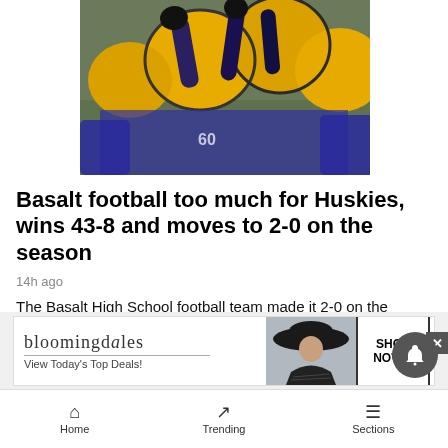[Figure (photo): Football players with yellow/gold helmets raising hands, wearing purple/blue jerseys, on a football field]
Basalt football too much for Huskies, wins 43-8 and moves to 2-0 on the season
14h ago
The Basalt High School football team made it 2-0 on the young season Thursday night with an easy 43-8 home win over Battle Mountain on the BHS field. Roaring Fork is next.
[Figure (screenshot): Bloomingdale's advertisement: bloomingdales logo, View Today's Top Deals!, woman with hat image, SHOP NOW > button]
Home   Trending   Sections